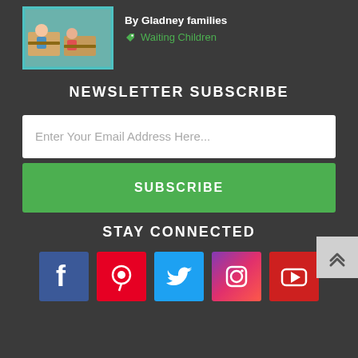[Figure (photo): Thumbnail image of children at classroom desks with teal/cyan border]
By Gladney families
Waiting Children
NEWSLETTER SUBSCRIBE
Enter Your Email Address Here...
SUBSCRIBE
STAY CONNECTED
[Figure (infographic): Social media icons row: Facebook (blue), Pinterest (red), Twitter (light blue), Instagram (purple-pink gradient), YouTube (red)]